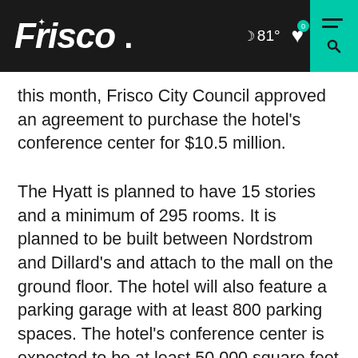Frisco | 81° | 0 favorites | menu/search
this month, Frisco City Council approved an agreement to purchase the hotel's conference center for $10.5 million.
The Hyatt is planned to have 15 stories and a minimum of 295 rooms. It is planned to be built between Nordstrom and Dillard's and attach to the mall on the ground floor. The hotel will also feature a parking garage with at least 800 parking spaces. The hotel's conference center is expected to be at least 50,000 square feet and include a grand ballroom, a junior ballroom and additional breakout spaces.